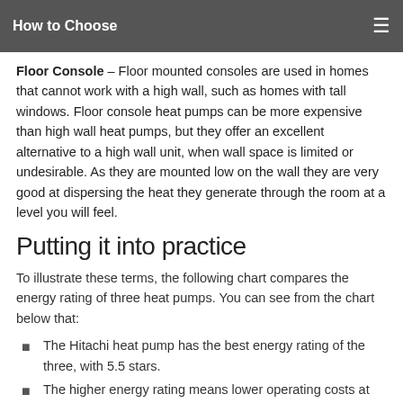How to Choose
Floor Console – Floor mounted consoles are used in homes that cannot work with a high wall, such as homes with tall windows. Floor console heat pumps can be more expensive than high wall heat pumps, but they offer an excellent alternative to a high wall unit, when wall space is limited or undesirable. As they are mounted low on the wall they are very good at dispersing the heat they generate through the room at a level you will feel.
Putting it into practice
To illustrate these terms, the following chart compares the energy rating of three heat pumps. You can see from the chart below that:
The Hitachi heat pump has the best energy rating of the three, with 5.5 stars.
The higher energy rating means lower operating costs at $112 vs $119 for the Fujitsu.
The Hitachi and Mitsubishi provide more cooling than the